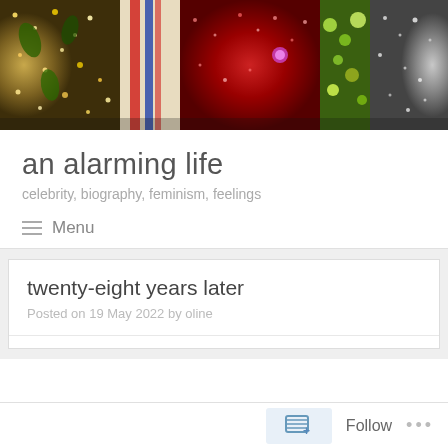[Figure (photo): Header photo showing close-up of glittery, sequined costumes in gold, red, pink/white, and silver colors]
an alarming life
celebrity, biography, feminism, feelings
Menu
twenty-eight years later
Posted on 19 May 2022 by oline